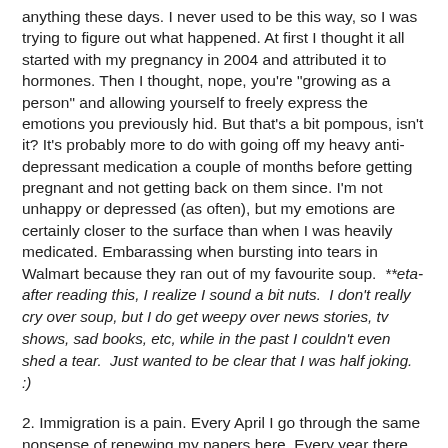anything these days. I never used to be this way, so I was trying to figure out what happened. At first I thought it all started with my pregnancy in 2004 and attributed it to hormones. Then I thought, nope, you're "growing as a person" and allowing yourself to freely express the emotions you previously hid. But that's a bit pompous, isn't it? It's probably more to do with going off my heavy anti-depressant medication a couple of months before getting pregnant and not getting back on them since. I'm not unhappy or depressed (as often), but my emotions are certainly closer to the surface than when I was heavily medicated. Embarassing when bursting into tears in Walmart because they ran out of my favourite soup.  **eta- after reading this, I realize I sound a bit nuts.  I don't really cry over soup, but I do get weepy over news stories, tv shows, sad books, etc, while in the past I couldn't even shed a tear.  Just wanted to be clear that I was half joking.  :)
2. Immigration is a pain. Every April I go through the same nonsense of renewing my papers here. Every year there are problems and strife associated with these renewals. Last year I discovered the joy of using an immigration lawyer and it was sooooo much nicer. This year I met with the lawyer